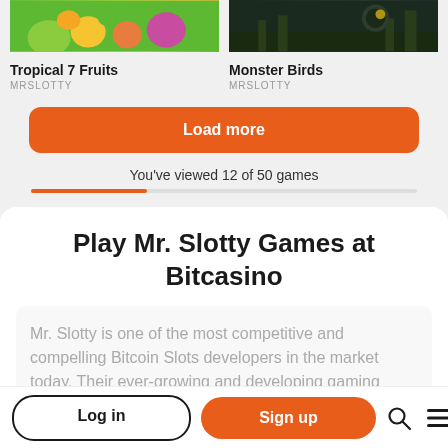[Figure (screenshot): Tropical 7 Fruits game thumbnail - colorful fruits on green background]
Tropical 7 Fruits
MRSLOTTY
[Figure (screenshot): Monster Birds game thumbnail - dark jungle night scene]
Monster Birds
MRSLOTTY
Load more
You've viewed 12 of 50 games
Play Mr. Slotty Games at Bitcasino
Mr. Slotty is one of the most competitive and compelling Bitcoin Slots developers in the market today. Their ever-growing and developing gaming library contains high-
Log in
Sign up